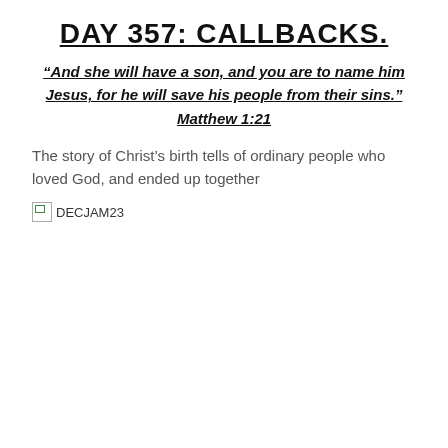DAY 357: CALLBACKS.
“And she will have a son, and you are to name him Jesus, for he will save his people from their sins.” Matthew 1:21
The story of Christ’s birth tells of ordinary people who loved God, and ended up together
[Figure (other): Broken image placeholder with label DECJAM23]